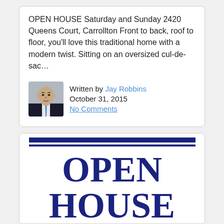OPEN HOUSE Saturday and Sunday 2420 Queens Court, Carrollton Front to back, roof to floor, you'll love this traditional home with a modern twist. Sitting on an oversized cul-de-sac…
Written by Jay Robbins
October 31, 2015
No Comments
[Figure (photo): Headshot photo of Jay Robbins, a middle-aged bald man in a dark suit and blue tie]
[Figure (photo): Open house sign with dark navy blue double bar at top and large bold dark navy text reading OPEN HOUSE on white background]